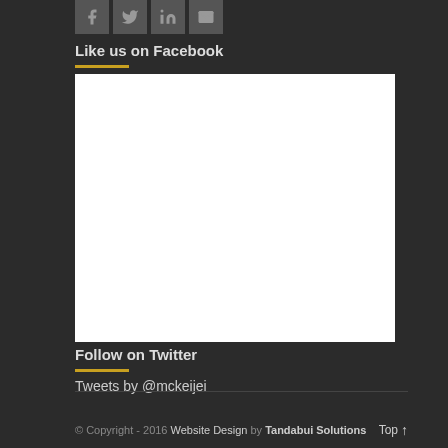[Figure (other): Social media icon buttons: Facebook, Twitter, LinkedIn, Email]
Like us on Facebook
[Figure (other): Facebook widget embed area (white rectangle placeholder)]
Follow on Twitter
Tweets by @mckeijei
© Copyright - 2016 Website Design by Tandabui Solutions   Top ↑